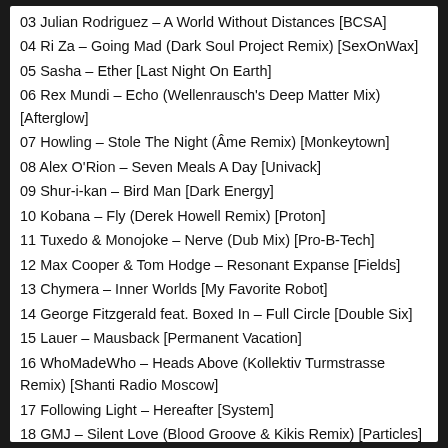03 Julian Rodriguez – A World Without Distances [BCSA]
04 Ri Za – Going Mad (Dark Soul Project Remix) [SexOnWax]
05 Sasha – Ether [Last Night On Earth]
06 Rex Mundi – Echo (Wellenrausch's Deep Matter Mix) [Afterglow]
07 Howling – Stole The Night (Âme Remix) [Monkeytown]
08 Alex O'Rion – Seven Meals A Day [Univack]
09 Shur-i-kan – Bird Man [Dark Energy]
10 Kobana – Fly (Derek Howell Remix) [Proton]
11 Tuxedo & Monojoke – Nerve (Dub Mix) [Pro-B-Tech]
12 Max Cooper & Tom Hodge – Resonant Expanse [Fields]
13 Chymera – Inner Worlds [My Favorite Robot]
14 George Fitzgerald feat. Boxed In – Full Circle [Double Six]
15 Lauer – Mausback [Permanent Vacation]
16 WhoMadeWho – Heads Above (Kollektiv Turmstrasse Remix) [Shanti Radio Moscow]
17 Following Light – Hereafter [System]
18 GMJ – Silent Love (Blood Groove & Kikis Remix) [Particles]
19 Sailor & I – Sweat (DJ Tennis & Margot Remix) [The Invention Of Loneliness]
20 Dave DK – Veira [Kompakt]
21 Dominik Eulberg – Hühnergott [Traum]